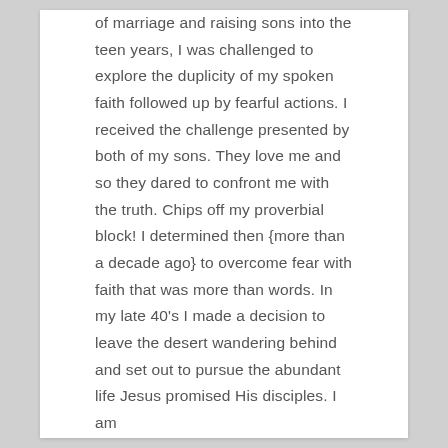of marriage and raising sons into the teen years, I was challenged to explore the duplicity of my spoken faith followed up by fearful actions. I received the challenge presented by both of my sons. They love me and so they dared to confront me with the truth. Chips off my proverbial block! I determined then {more than a decade ago} to overcome fear with faith that was more than words. In my late 40's I made a decision to leave the desert wandering behind and set out to pursue the abundant life Jesus promised His disciples. I am